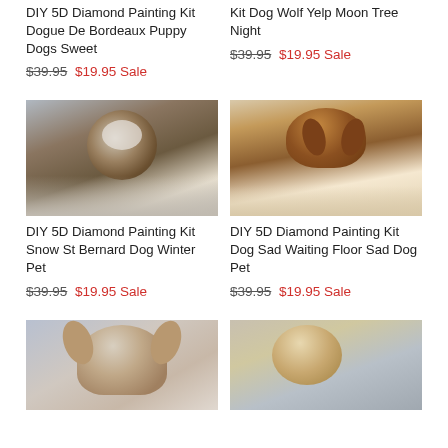DIY 5D Diamond Painting Kit Dogue De Bordeaux Puppy Dogs Sweet
$39.95 $19.95 Sale
Kit Dog Wolf Yelp Moon Tree Night
$39.95 $19.95 Sale
[Figure (photo): St. Bernard dog covered in snow, close-up winter pet photo]
[Figure (photo): Cocker Spaniel dog with sad eyes lying on floor, close-up pet photo]
DIY 5D Diamond Painting Kit Snow St Bernard Dog Winter Pet
$39.95 $19.95 Sale
DIY 5D Diamond Painting Kit Dog Sad Waiting Floor Sad Dog Pet
$39.95 $19.95 Sale
[Figure (photo): Dog with brown ears close-up, partial photo at page bottom]
[Figure (photo): Light-colored dog with person, partial photo at page bottom]